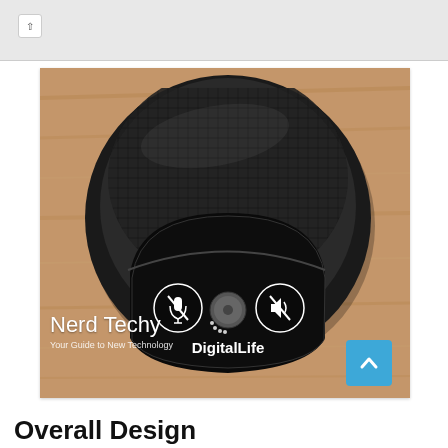[Figure (photo): Photo of a circular black DigitalLife conference microphone/speaker device with mesh grille on top and control panel at bottom showing mute microphone button, volume knob, and speaker mute button with 'DigitalLife' branding, placed on a wooden surface. Watermark reads 'Nerd Techy - Your Guide to New Technology'. Shown inside a web browser frame with a scroll-up button.]
Overall Design